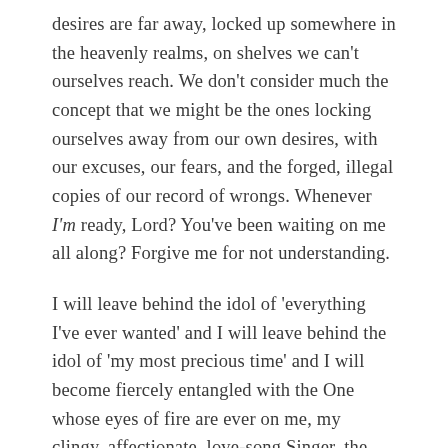desires are far away, locked up somewhere in the heavenly realms, on shelves we can't ourselves reach. We don't consider much the concept that we might be the ones locking ourselves away from our own desires, with our excuses, our fears, and the forged, illegal copies of our record of wrongs. Whenever I'm ready, Lord? You've been waiting on me all along? Forgive me for not understanding.
I will leave behind the idol of 'everything I've ever wanted' and I will leave behind the idol of 'my most precious time' and I will become fiercely entangled with the One whose eyes of fire are ever on me, my clingy, affectionate, love-song Singer, the One whose words fall out and shock me with extravagance and revelation, the One whose conversation enamors me, so deeply entrenched in the mysteries of the Kingdom I